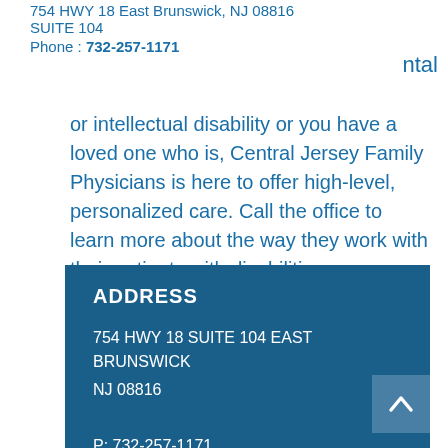754 HWY 18 East Brunswick, NJ 08816
SUITE 104
Phone : 732-257-1171
ntal
or intellectual disability or you have a loved one who is, Central Jersey Family Physicians is here to offer high-level, personalized care. Call the office to learn more about the way they work with their patients with disabilities.
ADDRESS
754 HWY 18 SUITE 104 EAST BRUNSWICK NJ 08816
P: 732-257-1171